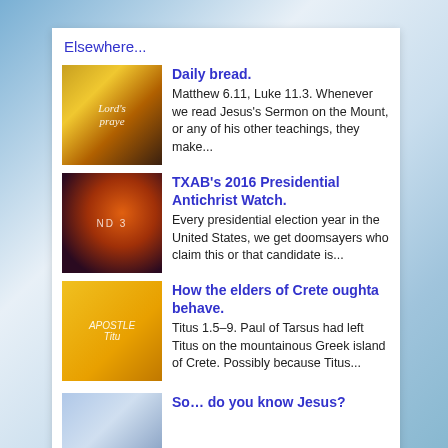Elsewhere...
[Figure (photo): Book/movie cover showing Lord's Prayer with a figure and raised hands]
Daily bread.
Matthew 6.11, Luke 11.3. Whenever we read Jesus's Sermon on the Mount, or any of his other teachings, they make...
[Figure (photo): Dark spherical planet-like celestial body with fiery orange texture, text ND visible]
TXAB's 2016 Presidential Antichrist Watch.
Every presidential election year in the United States, we get doomsayers who claim this or that candidate is...
[Figure (photo): Yellow background with figure in robes, text reading APOSTLE Titu]
How the elders of Crete oughta behave.
Titus 1.5–9. Paul of Tarsus had left Titus on the mountainous Greek island of Crete. Possibly because Titus...
[Figure (photo): Partial image of a person, beginning of next article]
So… do you know Jesus?